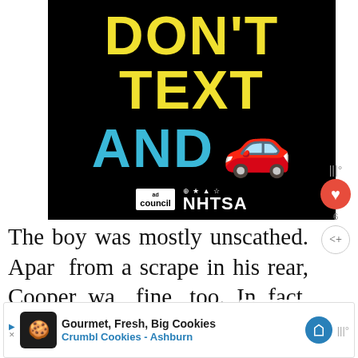[Figure (infographic): Black background ad with yellow text 'DON'T TEXT', cyan text 'AND', a red car emoji, Ad Council logo, and NHTSA logo. Public service announcement about not texting and driving.]
The boy was mostly unscathed. Apart from a scrape in his rear, Cooper was fine, too. In fact, it's as if nothing had happened when he arrived at Waverly Animal Clinic. The dog was
[Figure (infographic): Bottom ad banner: Crumbl Cookies - Ashburn. Gourmet, Fresh, Big Cookies advertisement with cookie logo and navigation icon.]